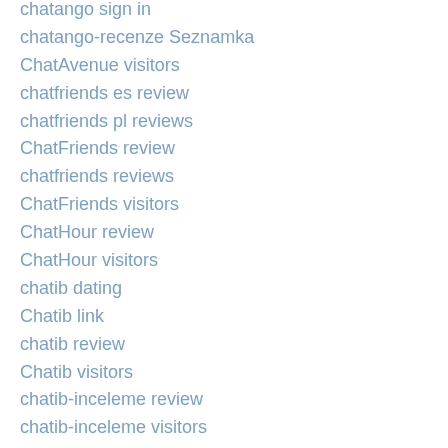chatango sign in
chatango-recenze Seznamka
ChatAvenue visitors
chatfriends es review
chatfriends pl reviews
ChatFriends review
chatfriends reviews
ChatFriends visitors
ChatHour review
ChatHour visitors
chatib dating
Chatib link
chatib review
Chatib visitors
chatib-inceleme review
chatib-inceleme visitors
chatiw free dating apps
Chatiw gare aux gays